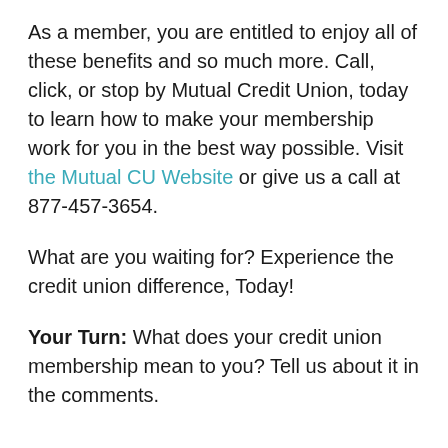As a member, you are entitled to enjoy all of these benefits and so much more. Call, click, or stop by Mutual Credit Union, today to learn how to make your membership work for you in the best way possible. Visit the Mutual CU Website or give us a call at 877-457-3654.
What are you waiting for? Experience the credit union difference, Today!
Your Turn: What does your credit union membership mean to you? Tell us about it in the comments.